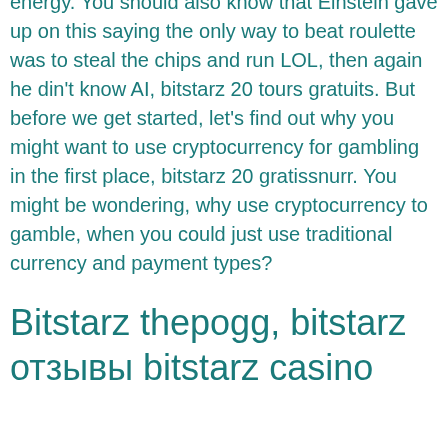energy. You should also know that Einstein gave up on this saying the only way to beat roulette was to steal the chips and run LOL, then again he din't know AI, bitstarz 20 tours gratuits. But before we get started, let's find out why you might want to use cryptocurrency for gambling in the first place, bitstarz 20 gratissnurr. You might be wondering, why use cryptocurrency to gamble, when you could just use traditional currency and payment types?
Bitstarz thepogg, bitstarz отзывы bitstarz casino
BetOnline , for example, has been around since 2004. That's two decades of reputation building. The other BTC betting sites on my list have only been around since 2014 or later -- which gives